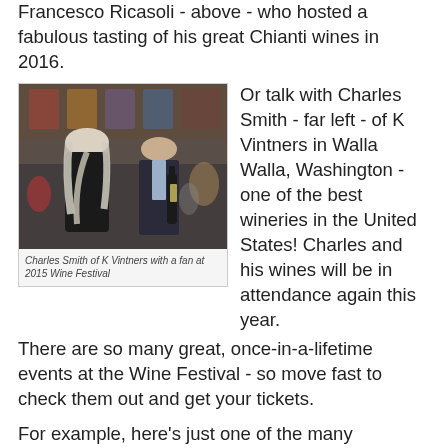Francesco Ricasoli - above - who hosted a fabulous tasting of his great Chianti wines in 2016.
[Figure (photo): Two men at a wine festival event, one with long white hair and one in a suit holding wine bottles, in a crowded venue.]
Charles Smith of K Vintners with a fan at 2015 Wine Festival
Or talk with Charles Smith - far left - of K Vintners in Walla Walla, Washington - one of the best wineries in the United States! Charles and his wines will be in attendance again this year.
There are so many great, once-in-a-lifetime events at the Wine Festival - so move fast to check them out and get your tickets.
For example, here's just one of the many seminars